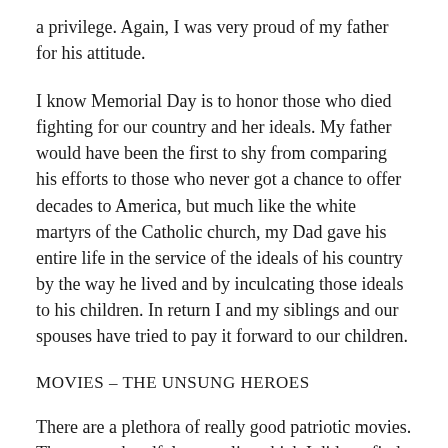a privilege. Again, I was very proud of my father for his attitude.
I know Memorial Day is to honor those who died fighting for our country and her ideals. My father would have been the first to shy from comparing his efforts to those who never got a chance to offer decades to America, but much like the white martyrs of the Catholic church, my Dad gave his entire life in the service of the ideals of his country by the way he lived and by inculcating those ideals to his children. In return I and my siblings and our spouses have tried to pay it forward to our children.
MOVIES – THE UNSUNG HEROES
There are a plethora of really good patriotic movies. There are a handful on my list which I did not find on anyone else's.